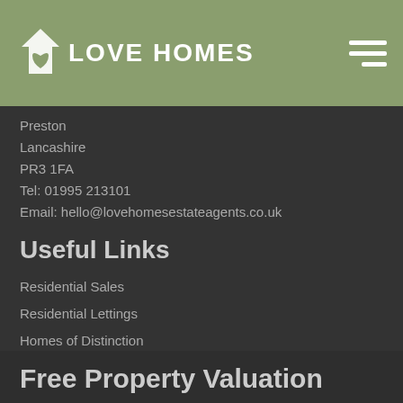LOVE HOMES
Preston
Lancashire
PR3 1FA
Tel: 01995 213101
Email: hello@lovehomesestateagents.co.uk
Useful Links
Residential Sales
Residential Lettings
Homes of Distinction
Park Homes
Contact Us
About Us
Testimonials
Blog
Free Property Valuation